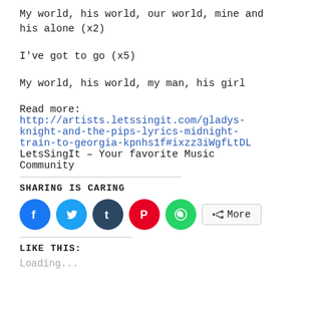My world, his world, our world, mine and his alone (x2)
I've got to go (x5)
My world, his world, my man, his girl
Read more:
http://artists.letssingit.com/gladys-knight-and-the-pips-lyrics-midnight-train-to-georgia-kpnhs1f#ixzz3iWgfLtDL
LetsSingIt – Your favorite Music Community
SHARING IS CARING
[Figure (infographic): Social sharing buttons: Facebook (blue circle), Twitter (light blue circle), Tumblr (dark navy circle), Pinterest (red circle), WhatsApp (green circle), and a More button]
LIKE THIS:
Loading...